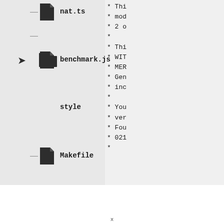[Figure (screenshot): File tree view showing files: nat.ts, benchmark.js, style (folder), Makefile, vm (folder), util.js, shell (folder), img (folder). Some folders have expand arrows.]
* Thi
* mod
* 2 o
*
* Thi
* WIT
* MER
* Gen
* inc
*
* You
* ver
* Fou
* 021
*